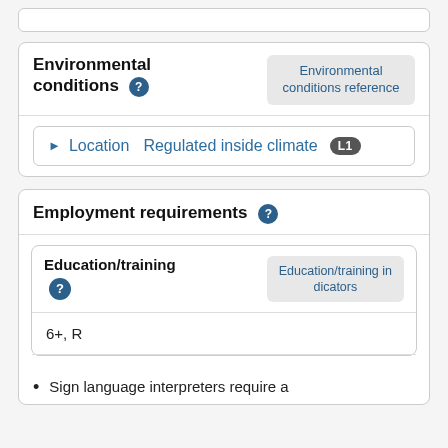Environmental conditions
Environmental conditions reference
Location  Regulated inside climate  L1
Employment requirements
Education/training
Education/training indicators
6+, R
Sign language interpreters require a